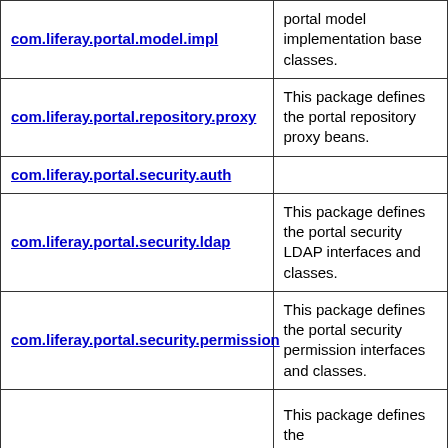| Package | Description |
| --- | --- |
| com.liferay.portal.model.impl | portal model implementation base classes. |
| com.liferay.portal.repository.proxy | This package defines the portal repository proxy beans. |
| com.liferay.portal.security.auth |  |
| com.liferay.portal.security.ldap | This package defines the portal security LDAP interfaces and classes. |
| com.liferay.portal.security.permission | This package defines the portal security permission interfaces and classes. |
| (partial row) | This package defines the |